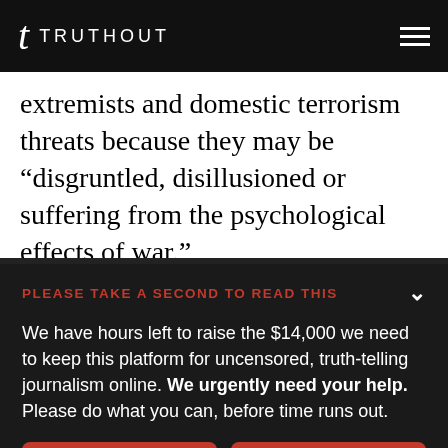TRUTHOUT
extremists and domestic terrorism threats because they may be “disgruntled, disillusioned or suffering from the psychological effects of war.”
PLEASE TAKE A SECOND TO READ THIS
We have hours left to raise the $14,000 we need to keep this platform for uncensored, truth-telling journalism online. We urgently need your help. Please do what you can, before time runs out.
DONATE
DONATE MONTHLY